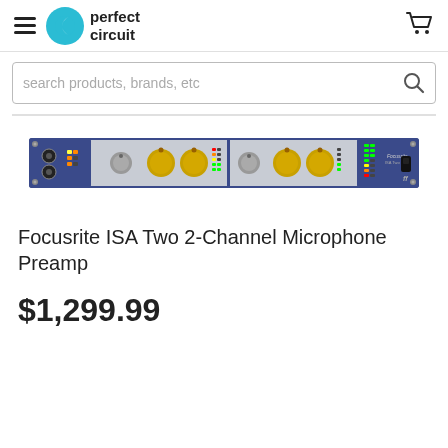Perfect Circuit
search products, brands, etc
[Figure (photo): Focusrite ISA Two 2-Channel Microphone Preamp — blue rack-mounted unit with two channels, silver and gold knobs, LED meters, and power switch]
Focusrite ISA Two 2-Channel Microphone Preamp
$1,299.99